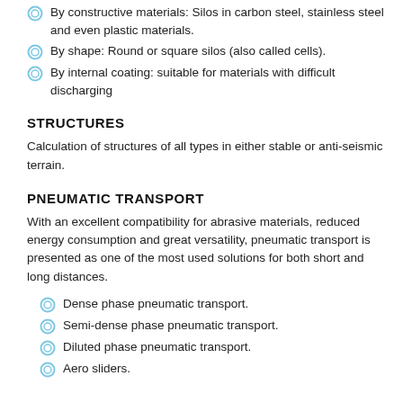By constructive materials: Silos in carbon steel, stainless steel and even plastic materials.
By shape: Round or square silos (also called cells).
By internal coating: suitable for materials with difficult discharging
STRUCTURES
Calculation of structures of all types in either stable or anti-seismic terrain.
PNEUMATIC TRANSPORT
With an excellent compatibility for abrasive materials, reduced energy consumption and great versatility, pneumatic transport is presented as one of the most used solutions for both short and long distances.
Dense phase pneumatic transport.
Semi-dense phase pneumatic transport.
Diluted phase pneumatic transport.
Aero sliders.